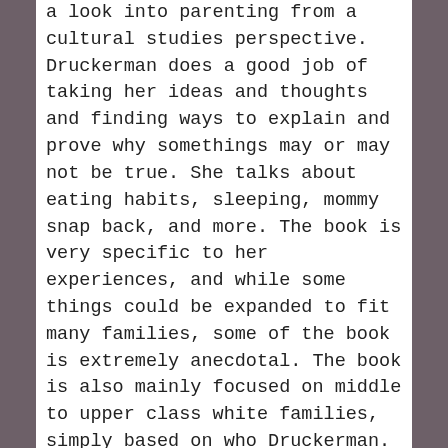a look into parenting from a cultural studies perspective. Druckerman does a good job of taking her ideas and thoughts and finding ways to explain and prove why somethings may or may not be true. She talks about eating habits, sleeping, mommy snap back, and more. The book is very specific to her experiences, and while some things could be expanded to fit many families, some of the book is extremely anecdotal. The book is also mainly focused on middle to upper class white families, simply based on who Druckerman. I wished she would have taken the time to look at how wealth changes the parenting experience in France. Just like all cultures and countries, France has issues that this book doesn't get into. Thats ok, but I did find it misleading to leave out most (if not all) of